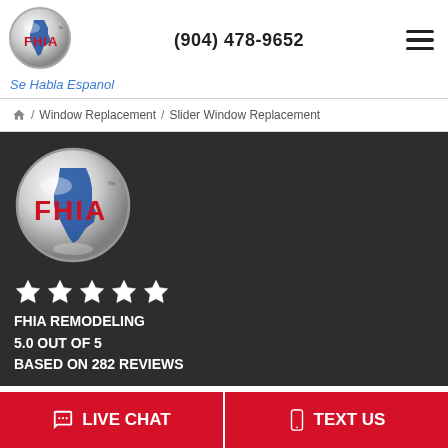[Figure (logo): FHIA logo circle with Florida state outline in blue and red FHIA text]
(904) 478-9652
Se Habla Espanol
/ Window Replacement / Slider Window Replacement
[Figure (logo): Large FHIA circular logo with Florida outline in blue and red FHIA text on silver metallic background]
FHIA REMODELING
5.0 OUT OF 5
BASED ON 282 REVIEWS
LIVE CHAT
TEXT US